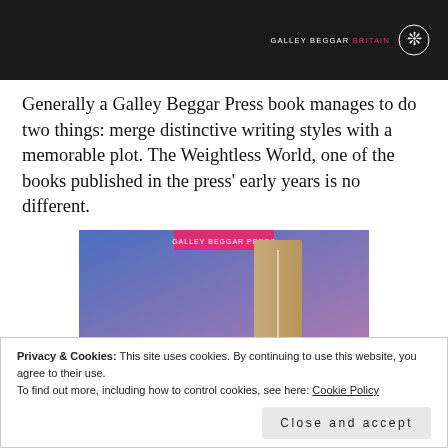GALLEY BEGGAR BRITAIN
Generally a Galley Beggar Press book manages to do two things: merge distinctive writing styles with a memorable plot. The Weightless World, one of the books published in the press' early years is no different.
[Figure (photo): Book cover image with blue-purple gradient background and a tan/beige rectangular shape resembling a door or bookmark in the center-right, with a pink-magenta label/tab at the top.]
Privacy & Cookies: This site uses cookies. By continuing to use this website, you agree to their use.
To find out more, including how to control cookies, see here: Cookie Policy
Close and accept